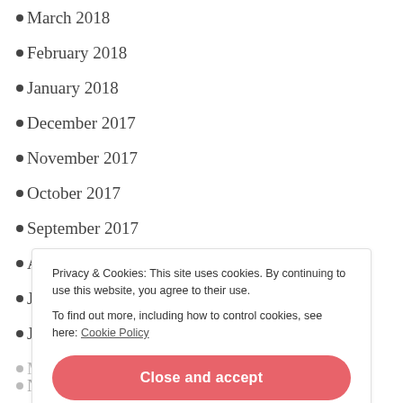March 2018
February 2018
January 2018
December 2017
November 2017
October 2017
September 2017
August 2017
July 2017
June 2017
Privacy & Cookies: This site uses cookies. By continuing to use this website, you agree to their use.
To find out more, including how to control cookies, see here: Cookie Policy
November 2016